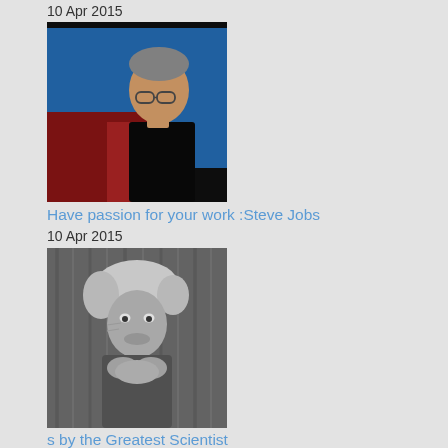10 Apr 2015
[Figure (photo): Photo of Steve Jobs speaking, blue background, red chair]
Have passion for your work :Steve Jobs
10 Apr 2015
[Figure (photo): Black and white photo of Albert Einstein]
s by the Greatest Scientist
10 Apr 2015
[Figure (photo): Partially visible photo of a person, mostly black at top]